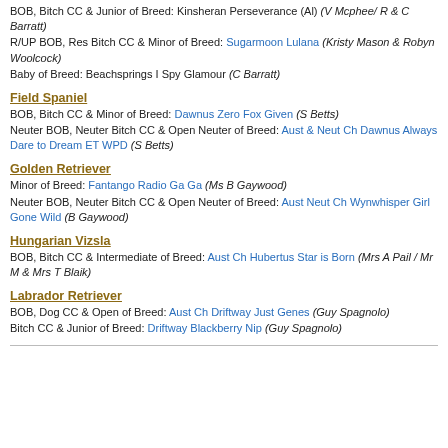BOB, Bitch CC & Junior of Breed: Kinsheran Perseverance (Al) (V Mcphee/ R & C Barratt)
R/UP BOB, Res Bitch CC & Minor of Breed: Sugarmoon Lulana (Kristy Mason & Robyn Woolcock)
Baby of Breed: Beachsprings I Spy Glamour (C Barratt)
Field Spaniel
BOB, Bitch CC & Minor of Breed: Dawnus Zero Fox Given (S Betts)
Neuter BOB, Neuter Bitch CC & Open Neuter of Breed: Aust & Neut Ch Dawnus Always Dare to Dream ET WPD (S Betts)
Golden Retriever
Minor of Breed: Fantango Radio Ga Ga (Ms B Gaywood)
Neuter BOB, Neuter Bitch CC & Open Neuter of Breed: Aust Neut Ch Wynwhisper Girl Gone Wild (B Gaywood)
Hungarian Vizsla
BOB, Bitch CC & Intermediate of Breed: Aust Ch Hubertus Star is Born (Mrs A Pail / Mr M & Mrs T Blaik)
Labrador Retriever
BOB, Dog CC & Open of Breed: Aust Ch Driftway Just Genes (Guy Spagnolo)
Bitch CC & Junior of Breed: Driftway Blackberry Nip (Guy Spagnolo)